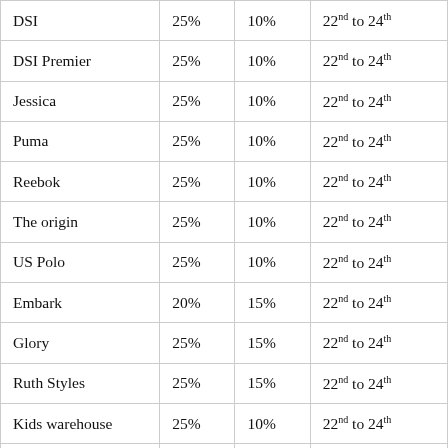| DSI | 25% | 10% | 22nd to 24th |
| DSI Premier | 25% | 10% | 22nd to 24th |
| Jessica | 25% | 10% | 22nd to 24th |
| Puma | 25% | 10% | 22nd to 24th |
| Reebok | 25% | 10% | 22nd to 24th |
| The origin | 25% | 10% | 22nd to 24th |
| US Polo | 25% | 10% | 22nd to 24th |
| Embark | 20% | 15% | 22nd to 24th |
| Glory | 25% | 15% | 22nd to 24th |
| Ruth Styles | 25% | 15% | 22nd to 24th |
| Kids warehouse | 25% | 10% | 22nd to 24th |
| Cool Planet | 20% |  | 23rd , 24th a |